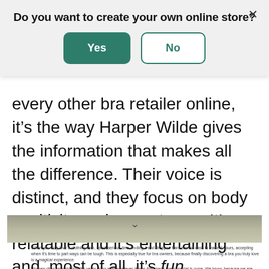Do you want to create your own online store?
every other bra retailer online, it’s the way Harper Wilde gives the information that makes all the difference. Their voice is distinct, and they focus on body positivity and acceptance. It’s relatable and it’s entertaining and, most of all, it’s fun.
[Figure (photo): Partially visible photo of a woman, with a chevron/down arrow overlay]
When you truly love a clothing item, spent serious time finding it and dropped hard-earned cash to make it yours, accepting when it’s time to part ways can be tough. This is especially true for bra owners, because finally discovering a bra you truly love is a magical experience.
Women cling onto old bras for years, long after whatever it was that made them special is gone. We know, because we are 100% guilty of the exact same thing. In fact, each woman on our team admits she used to own bras way past their expiration dates and has since learned the comfort and satisfaction of letting go of those I-Bought-These-In-College bras in exchange for bras that are actually lifting her ladies.